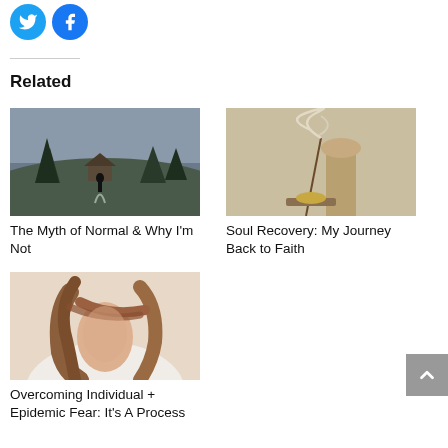[Figure (logo): Twitter and Facebook social share icon buttons (circular blue icons)]
Related
[Figure (photo): Black and white photo of a person standing on a hill with trees and a house in the background]
The Myth of Normal & Why I'm Not
[Figure (photo): Photo of incense smoke rising near a lamp on a beige background]
Soul Recovery: My Journey Back to Faith
[Figure (photo): Photo of a woman with hair blowing across her face, wearing a light top]
Overcoming Individual + Epidemic Fear: It's A Process